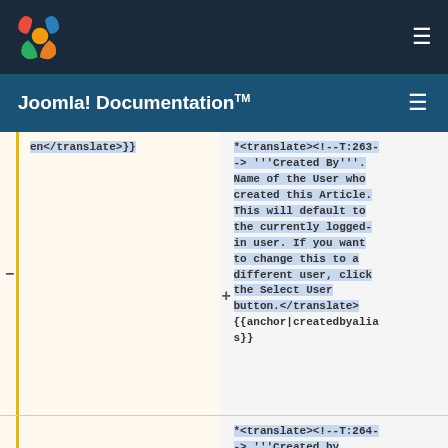Joomla! Documentation
en</translate>}}
*<translate><!--T:263--> '''Created By'''. Name of the User who created this Article. This will default to the currently logged-in user. If you want to change this to a different user, click the Select User button.</translate>{{anchor|createdbyalias}}
*<translate><!--T:264--> '''Created by Alias'''. Enter in an alias for the Author